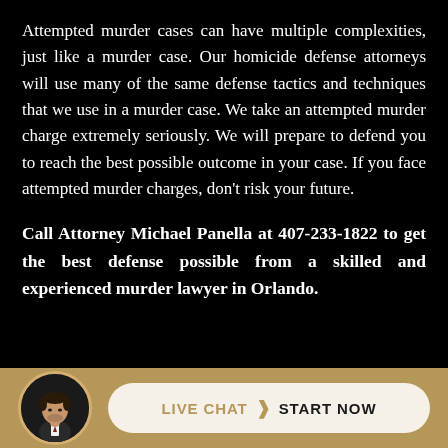Attempted murder cases can have multiple complexities, just like a murder case. Our homicide defense attorneys will use many of the same defense tactics and techniques that we use in a murder case. We take an attempted murder charge extremely seriously. We will prepare to defend you to reach the best possible outcome in your case. If you face attempted murder charges, don't risk your future.
Call Attorney Michael Panella at 407-233-1822 to get the best defense possible from a skilled and experienced murder lawyer in Orlando.
[Figure (photo): Circular portrait photo of Attorney Michael Panella in a suit with a red tie, framed with a gold border, on a gold/tan footer bar.]
LIVE CHAT  >  START NOW